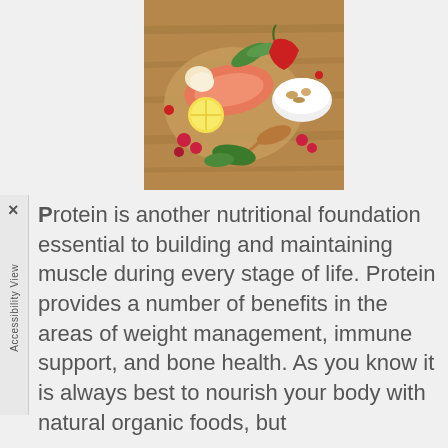[Figure (photo): Food photo showing salmon, eggs, chili peppers, lemon, herbs, berries and nuts arranged on a wooden surface]
Protein is another nutritional foundation essential to building and maintaining muscle during every stage of life. Protein provides a number of benefits in the areas of weight management, immune support, and bone health. As you know it is always best to nourish your body with natural organic foods, but
Read more
Vitamins & Supplements
Category: Health & Wellness, Wellness Essentials